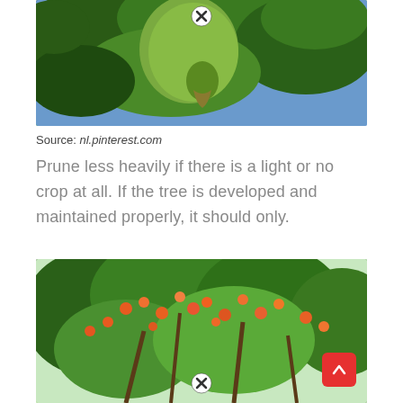[Figure (photo): Close-up photo of a green bird or parrot near large green fruit on a tree, shot from below against a blue sky]
Source: nl.pinterest.com
Prune less heavily if there is a light or no crop at all. If the tree is developed and maintained properly, it should only.
[Figure (photo): Photo of a tree with red/orange blossoms and green foliage, viewed from below against a bright sky]